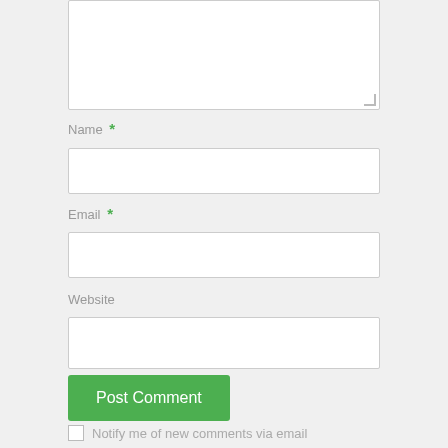[Figure (screenshot): Partially visible comment textarea input box at the top of the form]
Name *
[Figure (screenshot): Empty text input field for Name]
Email *
[Figure (screenshot): Empty text input field for Email]
Website
[Figure (screenshot): Empty text input field for Website]
Post Comment
Notify me of new comments via email